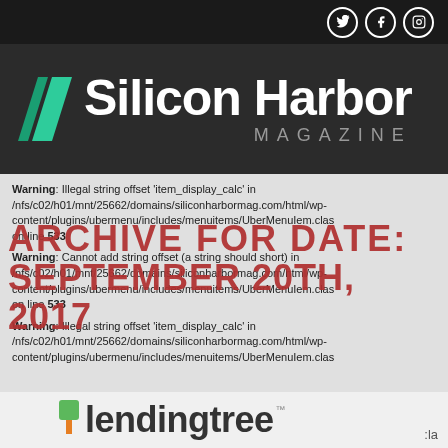[Figure (logo): Silicon Harbor Magazine logo with teal parallelogram icon on dark background, with social media icons (Twitter, Facebook, Instagram) in top right]
Warning: Illegal string offset 'item_display_calc' in /nfs/c02/h01/mnt/25662/domains/siliconharbormag.com/html/wp-content/plugins/ubermenu/includes/menuitems/UberMenuItem.clas on line 533
Warning: Cannot add string offset (a string offset) in /nfs/c02/h01/mnt/25662/domains/siliconharbormag.com/html/wp-content/plugins/ubermenu/includes/menuitems/UberMenuItem.clas on line 533
ARCHIVE FOR DATE: SEPTEMBER 20TH, 2017
Warning: Illegal string offset 'item_display_calc' in /nfs/c02/h01/mnt/25662/domains/siliconharbormag.com/html/wp-content/plugins/ubermenu/includes/menuitems/UberMenuItem.clas
[Figure (logo): LendingTree logo with green square icon and orange bar below, text reads 'lendingtree']